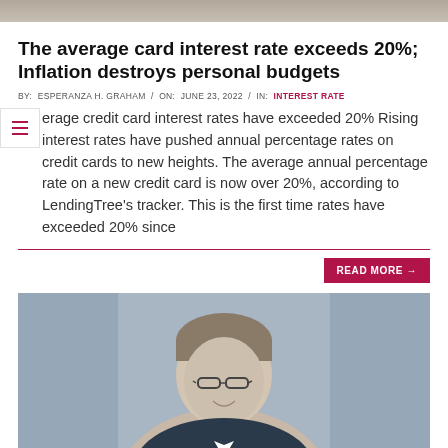[Figure (photo): Top banner image, partially cropped portrait photo]
The average card interest rate exceeds 20%; Inflation destroys personal budgets
BY:  ESPERANZA H. GRAHAM  /  ON:  JUNE 23, 2022  /  IN:  INTEREST RATE
...erage credit card interest rates have exceeded 20% Rising interest rates have pushed annual percentage rates on credit cards to new heights. The average annual percentage rate on a new credit card is now over 20%, according to LendingTree's tracker. This is the first time rates have exceeded 20% since
READ MORE →
[Figure (photo): Portrait photo of a man with glasses and short brown hair, smiling, against a grey background]